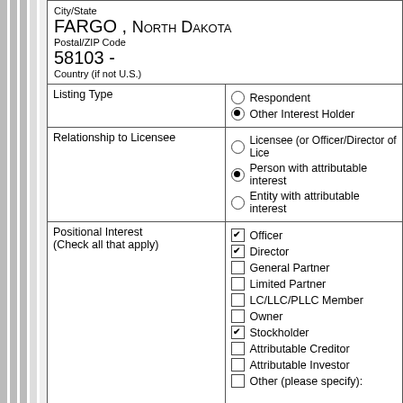| City/State
FARGO , NORTH DAKOTA
Postal/ZIP Code
58103 -
Country (if not U.S.) |
| Listing Type | ○ Respondent
● Other Interest Holder |
| Relationship to Licensee | ○ Licensee (or Officer/Director of Lice
● Person with attributable interest
○ Entity with attributable interest |
| Positional Interest (Check all that apply) | ☑ Officer
☑ Director
☐ General Partner
☐ Limited Partner
☐ LC/LLC/PLLC Member
☐ Owner
☑ Stockholder
☐ Attributable Creditor
☐ Attributable Investor
☐ Other (please specify): |
| FCC Registration |  |